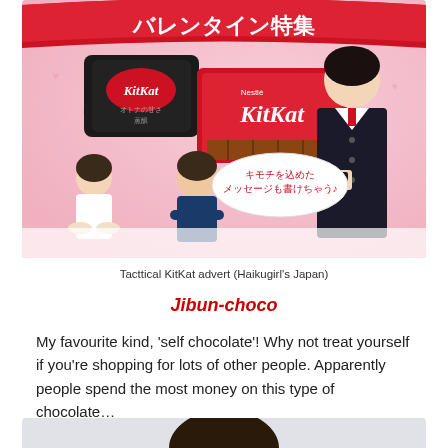[Figure (photo): Japanese KitKat Valentine's Day advertisement showing KitKat chocolate products, two people sitting on floor, and a woman in uniform holding chocolate. Japanese text reads バレンタイン特集 (Valentine's Feature) and キモチを込めたメッセージも書けちゃう♪]
Tacttical KitKat advert (Haikugirl's Japan)
Jibun-choco
My favourite kind, 'self chocolate'! Why not treat yourself if you're shopping for lots of other people. Apparently people spend the most money on this type of chocolate…
[Figure (photo): Partial photo showing top of a person's head with dark hair against a light grey/blue background]